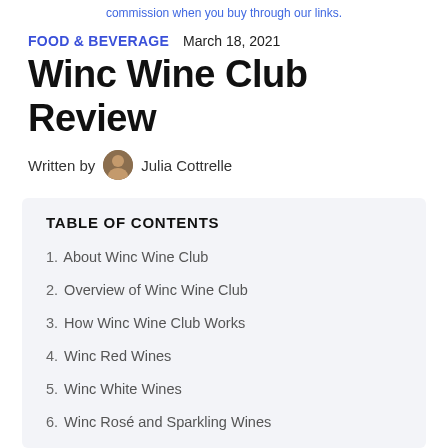commission when you buy through our links.
FOOD & BEVERAGE  March 18, 2021
Winc Wine Club Review
Written by  Julia Cottrelle
TABLE OF CONTENTS
1. About Winc Wine Club
2. Overview of Winc Wine Club
3. How Winc Wine Club Works
4. Winc Red Wines
5. Winc White Wines
6. Winc Rosé and Sparkling Wines